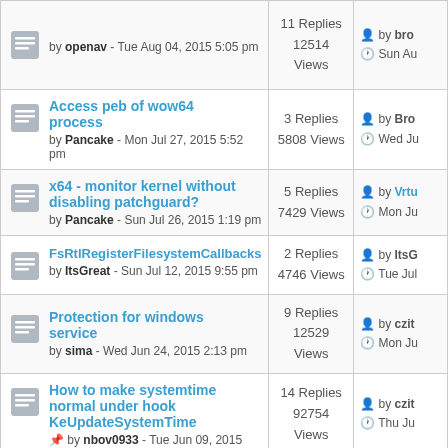| Topic | Replies/Views | Last Post |
| --- | --- | --- |
| by openav - Tue Aug 04, 2015 5:05 pm | 11 Replies
12514 Views | by bro
Sun Au |
| Access peb of wow64 process
by Pancake - Mon Jul 27, 2015 5:52 pm | 3 Replies
5808 Views | by Bro
Wed Ju |
| x64 - monitor kernel without disabling patchguard?
by Pancake - Sun Jul 26, 2015 1:19 pm | 5 Replies
7429 Views | by Vrtu
Mon Ju |
| FsRtlRegisterFilesystemCallbacks
by ItsGreat - Sun Jul 12, 2015 9:55 pm | 2 Replies
4746 Views | by ItsG
Tue Jul |
| Protection for windows service
by sima - Wed Jun 24, 2015 2:13 pm | 9 Replies
12529 Views | by czit
Mon Ju |
| How to make systemtime normal under hook KeUpdateSystemTime
by nbov0933 - Tue Jun 09, 2015 | 14 Replies
92754 Views | by czit
Thu Ju |